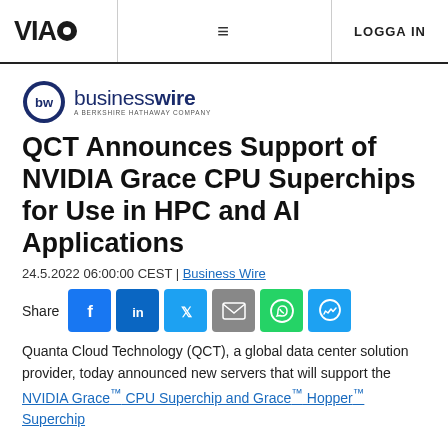VIA  ≡  LOGGA IN
[Figure (logo): Business Wire logo — circular bw icon with businesswire text and 'A BERKSHIRE HATHAWAY COMPANY' tagline]
QCT Announces Support of NVIDIA Grace CPU Superchips for Use in HPC and AI Applications
24.5.2022 06:00:00 CEST | Business Wire
Share [Facebook] [LinkedIn] [Twitter] [Email] [WhatsApp] [Messenger]
Quanta Cloud Technology (QCT), a global data center solution provider, today announced new servers that will support the NVIDIA Grace™ CPU Superchip and Grace™ Hopper™ Superchip